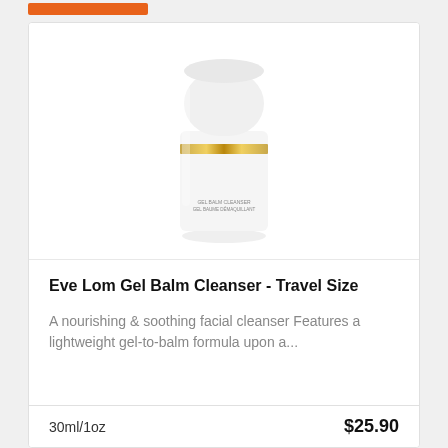[Figure (photo): White cylindrical bottle of Eve Lom Gel Balm Cleanser with a gold band near the middle and white cap, on a white background]
Eve Lom Gel Balm Cleanser - Travel Size
A nourishing & soothing facial cleanser Features a lightweight gel-to-balm formula upon a...
30ml/1oz
$25.90